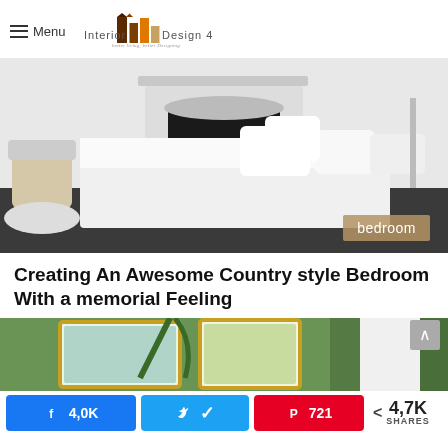Menu | Interior Design 4 — better living, better Designing
[Figure (photo): White bedroom with ornate black fireplace mantel, white bedding with multiple white pillows, dark hardwood floor, French-style chair and ottoman on left. Tag: 'bedroom']
Creating An Awesome Country style Bedroom With a memorial Feeling
[Figure (photo): Tropical/coastal style room with green palm leaf art prints in gold frames, green curtains, white paneled walls]
4,0K shares on Facebook | Twitter share | 721 Pinterest shares | < 4,7K SHARES